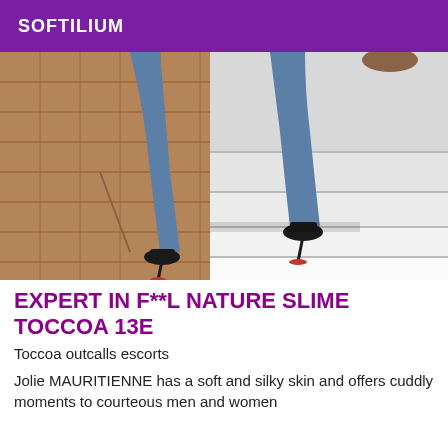SOFTILIUM
[Figure (photo): Close-up photo of a person's legs in blue skinny jeans wearing black stiletto heels with red soles, stepping up white concrete stairs with a brick pavement background]
EXPERT IN F**L NATURE SLIME TOCCOA 13E
Toccoa outcalls escorts
Jolie MAURITIENNE has a soft and silky skin and offers cuddly moments to courteous men and women